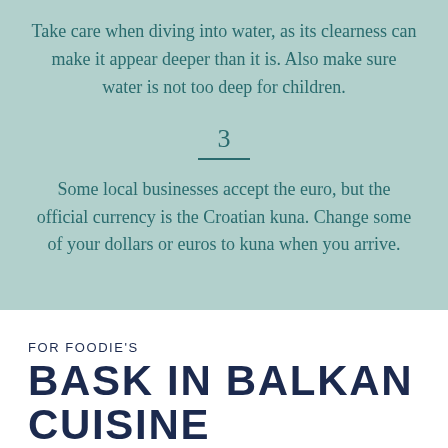Take care when diving into water, as its clearness can make it appear deeper than it is. Also make sure water is not too deep for children.
3
Some local businesses accept the euro, but the official currency is the Croatian kuna. Change some of your dollars or euros to kuna when you arrive.
FOR FOODIE'S
BASK IN BALKAN CUISINE